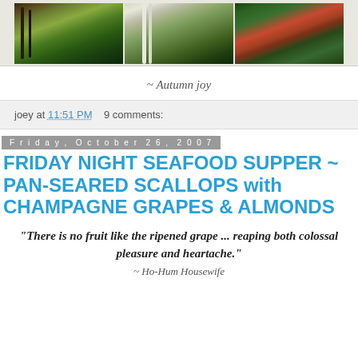[Figure (photo): Autumn forest photo strip showing three panels of trees with fall foliage — orange, yellow, green leaves and birch trees]
~ Autumn joy
joey at 11:51 PM   9 comments:
Friday, October 26, 2007
FRIDAY NIGHT SEAFOOD SUPPER ~ PAN-SEARED SCALLOPS with CHAMPAGNE GRAPES & ALMONDS
"There is no fruit like the ripened grape ... reaping both colossal pleasure and heartache."
~ Ho-Hum Housewife